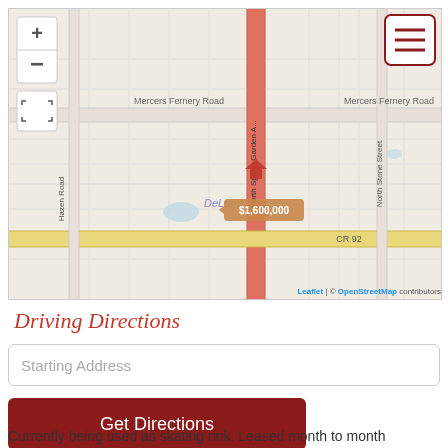[Figure (map): Street map showing DeLand area with North Spring Garden Avenue running vertically (highlighted in orange/red), Mercers Fernery Road running horizontally, CR 92 (yellow road), North Stone Street, and Hazen Road. A property marker shows $1,600,000 near DeLand label. Map attribution shows Leaflet | © OpenStreetMap contributors.]
Driving Directions
Currently being used as skating rink. Leased month to month